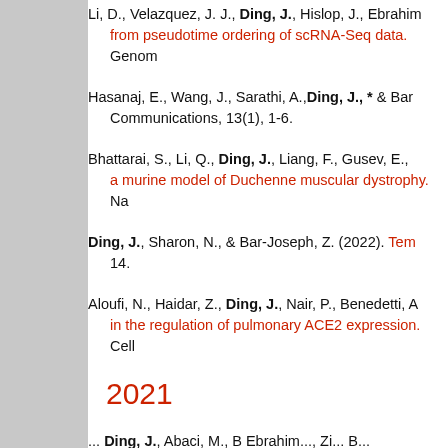Li, D., Velazquez, J. J., Ding, J., Hislop, J., Ebrahim... from pseudotime ordering of scRNA-Seq data. Genom...
Hasanaj, E., Wang, J., Sarathi, A., Ding, J., * & Bar... Communications, 13(1), 1-6.
Bhattarai, S., Li, Q., Ding, J., Liang, F., Gusev, E., ... a murine model of Duchenne muscular dystrophy. Na...
Ding, J., Sharon, N., & Bar-Joseph, Z. (2022). Tem... 14.
Aloufi, N., Haidar, Z., Ding, J., Nair, P., Benedetti, A... in the regulation of pulmonary ACE2 expression. Cells...
2021
... Ding, J., Abaci, M., B Ebrahim... Zi... B...